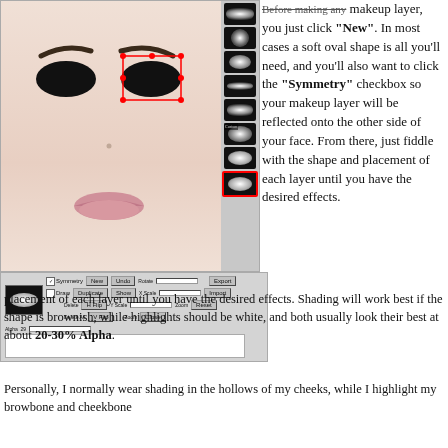[Figure (screenshot): Screenshot of a face makeup editor software showing a pale face with red selection handles around the eye area and a brush/shape panel on the right side with oval brush thumbnails. Below is a control bar with options for Symmetry, New, Undo, Rotate, Export, Import, Duplicate, H Flip, X Scale, Zoom, Reset, Delete, Y Scale, Delete All, V Flip, Zoom, Close, and an Alpha slider set to 29.]
Before making any makeup layer, you just click "New". In most cases a soft oval shape is all you'll need, and you'll also want to click the "Symmetry" checkbox so your makeup layer will be reflected onto the other side of your face. From there, just fiddle with the shape and placement of each layer until you have the desired effects. Shading will work best if the shape is brownish, while highlights should be white, and both usually look their best at about 20-30% Alpha.
Personally, I normally wear shading in the hollows of my cheeks, while I highlight my browbone and cheekbone